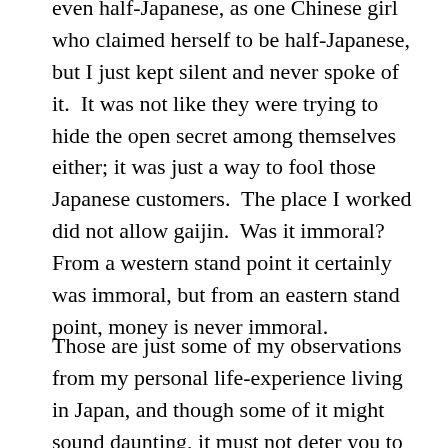even half-Japanese, as one Chinese girl who claimed herself to be half-Japanese, but I just kept silent and never spoke of it.  It was not like they were trying to hide the open secret among themselves either; it was just a way to fool those Japanese customers.  The place I worked did not allow gaijin.  Was it immoral?  From a western stand point it certainly was immoral, but from an eastern stand point, money is never immoral.
Those are just some of my observations from my personal life-experience living in Japan, and though some of it might sound daunting, it must not deter you to experience life on your own.  There will be happiness, and sadness and adventures in life and as a man, a white man no less, you must embrace them